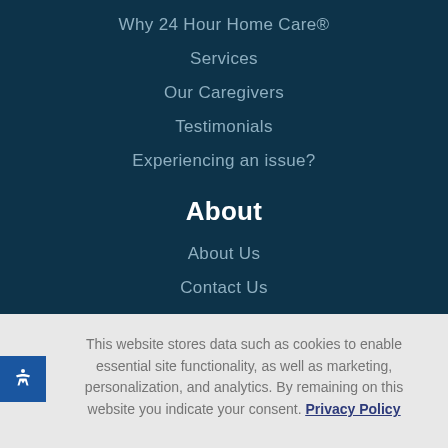Why 24 Hour Home Care®
Services
Our Caregivers
Testimonials
Experiencing an issue?
About
About Us
Contact Us
Executive Team
This website stores data such as cookies to enable essential site functionality, as well as marketing, personalization, and analytics. By remaining on this website you indicate your consent. Privacy Policy